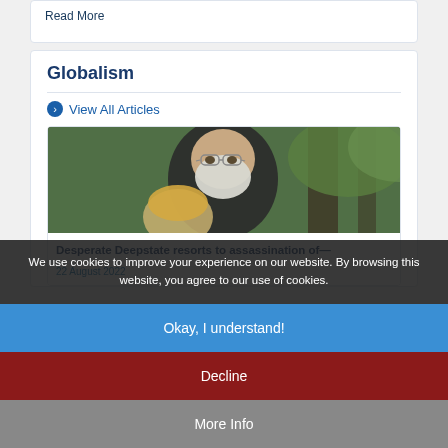Read More
Globalism
⊙ View All Articles
[Figure (photo): Photograph of an older man with white beard and glasses in front of trees, with a blonde person partially visible in the foreground]
Desperate Deepstate resorts to assassination of—
22 August 2022
We use cookies to improve your experience on our website. By browsing this website, you agree to our use of cookies.
Okay, I understand!
Decline
More Info